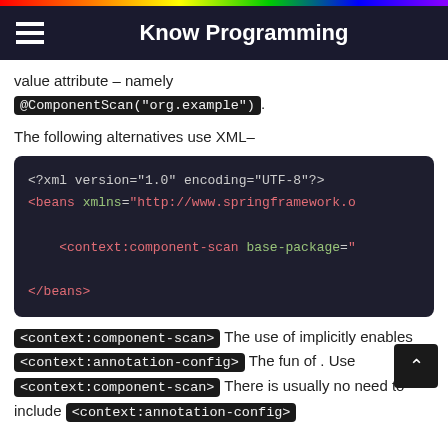Know Programming
value attribute – namely @ComponentScan("org.example").
The following alternatives use XML–
[Figure (screenshot): XML code block showing Spring beans configuration with context:component-scan element]
<context:component-scan> The use of implicitly enables <context:annotation-config> The fun of . Use <context:component-scan> There is usually no need to include <context:annotation-config>